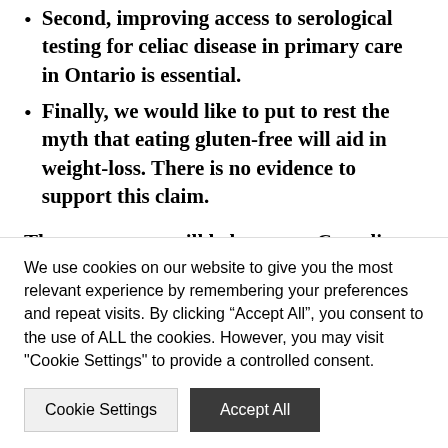Second, improving access to serological testing for celiac disease in primary care in Ontario is essential.
Finally, we would like to put to rest the myth that eating gluten-free will aid in weight-loss. There is no evidence to support this claim.
These measures will help ensure Canadians are not avoiding gluten unnecessarily, and Canadians who do avoid gluten have access to nutritionally
We use cookies on our website to give you the most relevant experience by remembering your preferences and repeat visits. By clicking “Accept All”, you consent to the use of ALL the cookies. However, you may visit "Cookie Settings" to provide a controlled consent.